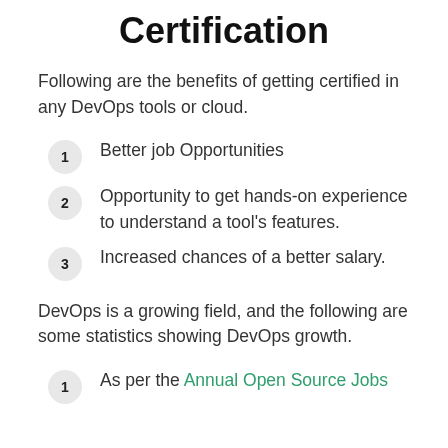Certification
Following are the benefits of getting certified in any DevOps tools or cloud.
Better job Opportunities
Opportunity to get hands-on experience to understand a tool's features.
Increased chances of a better salary.
DevOps is a growing field, and the following are some statistics showing DevOps growth.
As per the Annual Open Source Jobs...